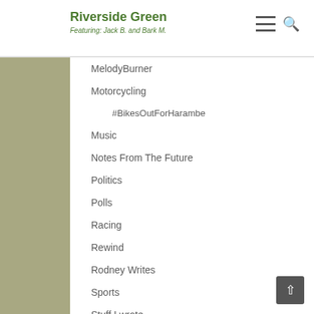Riverside Green — Featuring: Jack B. and Bark M.
MelodyBurner
Motorcycling
#BikesOutForHarambe
Music
Notes From The Future
Politics
Polls
Racing
Rewind
Rodney Writes
Sports
Stuff I wrote
Stuff I've read
Sunday Stories
The BarkCast
The Critics Respond
Travel
Uncategorized
Vignettes